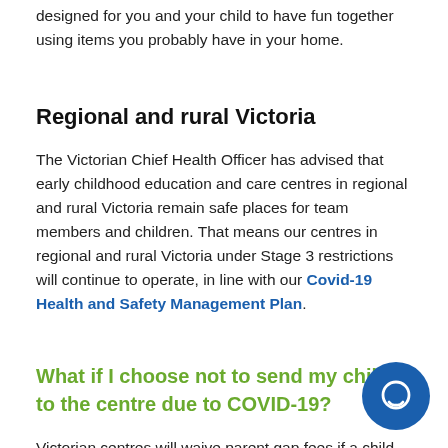designed for you and your child to have fun together using items you probably have in your home.
Regional and rural Victoria
The Victorian Chief Health Officer has advised that early childhood education and care centres in regional and rural Victoria remain safe places for team members and children. That means our centres in regional and rural Victoria under Stage 3 restrictions will continue to operate, in line with our Covid-19 Health and Safety Management Plan.
What if I choose not to send my child to the centre due to COVID-19?
Victorian centres will waive parent gap fees if a child does